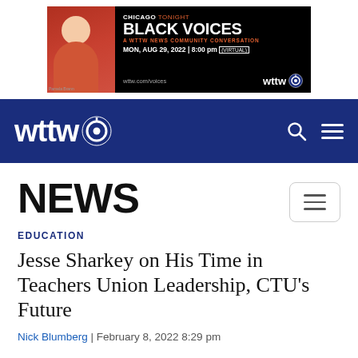[Figure (screenshot): Advertisement banner for WTTW Chicago Tonight Black Voices event. Black background with a woman in a coral blazer. Text: CHICAGO TONIGHT BLACK VOICES - A WTTW NEWS COMMUNITY CONVERSATION - MON, AUG 29, 2022 | 8:00 pm (VIRTUAL) - wttw.com/voices - wttw logo]
[Figure (logo): WTTW navigation bar with white wttw logo with PBS eye icon on dark blue background, search icon and hamburger menu on the right]
NEWS
EDUCATION
Jesse Sharkey on His Time in Teachers Union Leadership, CTU's Future
Nick Blumberg | February 8, 2022 8:29 pm